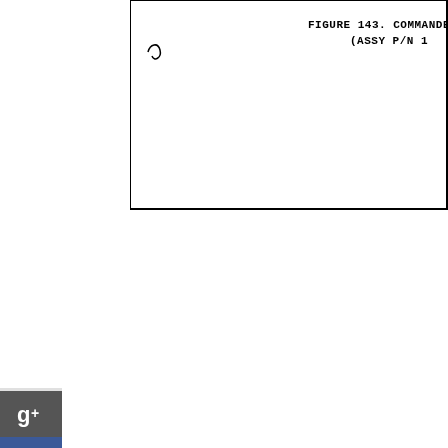FIGURE 143.  COMMANDER (ASSY P/N 1
[Figure (engineering-diagram): Partial engineering diagram showing a cropped technical drawing with a border box. Top portion shows 'FIGURE 143. COMMANDER (ASSY P/N 1' label and a small curl/wave mark in the upper left of the diagram area.]
[Figure (other): Social media sharing buttons arranged vertically on the left side: Google+, Facebook, LinkedIn, Twitter, a share/people icon button, and StumbleUpon.]